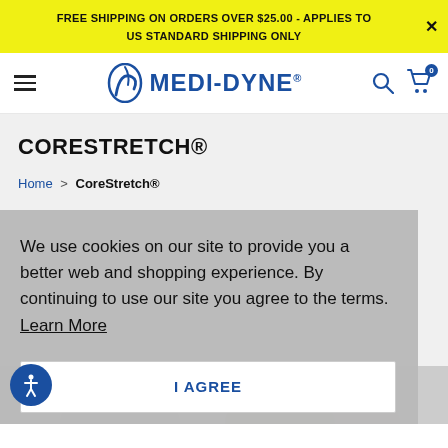FREE SHIPPING ON ORDERS OVER $25.00 - APPLIES TO US STANDARD SHIPPING ONLY
[Figure (logo): Medi-Dyne logo with hamburger menu and search/cart icons]
CORESTRETCH®
Home > CoreStretch®
We use cookies on our site to provide you a better web and shopping experience. By continuing to use our site you agree to the terms. Learn More
I AGREE